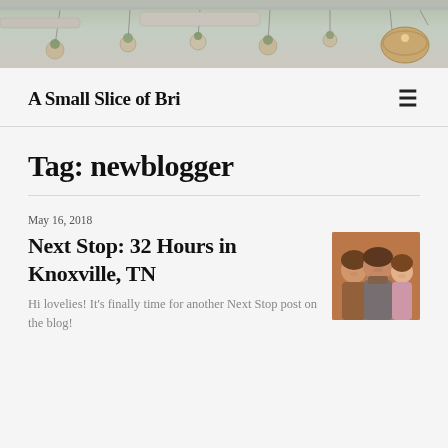[Figure (photo): Header photo of a restaurant or cafe interior with hanging plants and pendant lights on the ceiling]
A Small Slice of Bri
Tag: newblogger
May 16, 2018
Next Stop: 32 Hours in Knoxville, TN
Hi lovelies! It's finally time for another Next Stop post on the blog!
[Figure (photo): A selfie photo of three young people smiling, taken in what appears to be a restaurant setting with warm lighting]